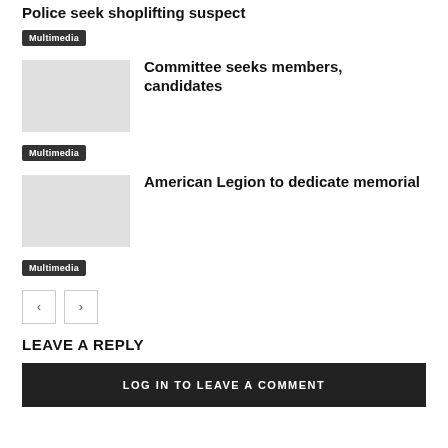Police seek shoplifting suspect
Multimedia
Committee seeks members, candidates
Multimedia
American Legion to dedicate memorial
Multimedia
< >
LEAVE A REPLY
LOG IN TO LEAVE A COMMENT